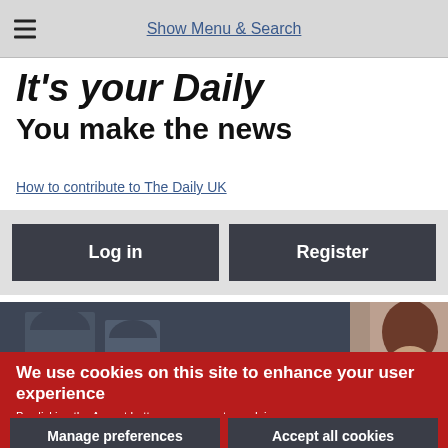Show Menu & Search
It's your Daily
You make the news
How to contribute to The Daily UK
Log in
Register
[Figure (photo): Partial photograph showing architectural arches on the left and a person with brown hair on the right, cropped at bottom of page]
We use cookies on this site to enhance your user experience
By clicking the Accept button, you agree to us doing so.
No, give me more info
Manage preferences
Accept all cookies